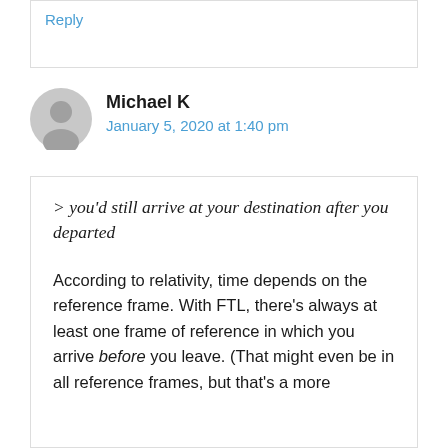Reply
Michael K
January 5, 2020 at 1:40 pm
> you'd still arrive at your destination after you departed
According to relativity, time depends on the reference frame. With FTL, there's always at least one frame of reference in which you arrive before you leave. (That might even be in all reference frames, but that's a more